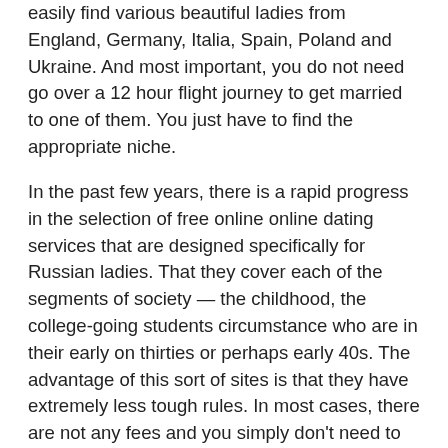easily find various beautiful ladies from England, Germany, Italia, Spain, Poland and Ukraine. And most important, you do not need go over a 12 hour flight journey to get married to one of them. You just have to find the appropriate niche.
In the past few years, there is a rapid progress in the selection of free online online dating services that are designed specifically for Russian ladies. That they cover each of the segments of society — the childhood, the college-going students circumstance who are in their early on thirties or perhaps early 40s. The advantage of this sort of sites is that they have extremely less tough rules. In most cases, there are not any fees and you simply don't need to give any pub charges. You are able to browse through the profiles of beautiful Slavic women without spending whatever and if you will find the woman you like, you can make up your mind to make contact with her or email her.